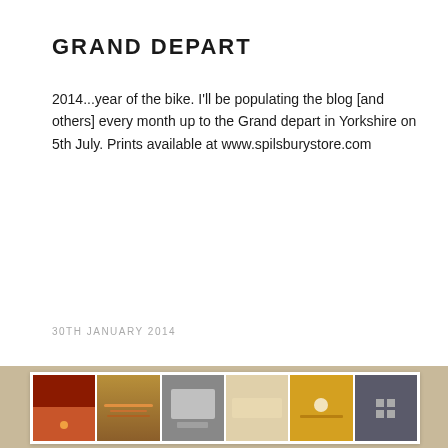GRAND DEPART
2014...year of the bike. I'll be populating the blog [and others] every month up to the Grand depart in Yorkshire on 5th July. Prints available at www.spilsburystore.com
30TH JANUARY 2014
[Figure (photo): A photo collage/print showing multiple small images arranged in a grid on a wooden or tan surface, partially visible at the bottom of the page.]